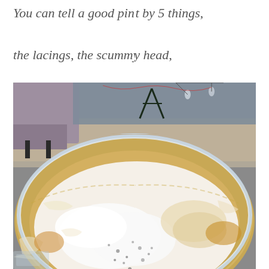You can tell a good pint by 5 things,
the lacings, the scummy head,
[Figure (photo): Close-up top-down view of a pint glass of beer with a foamy scummy head and lacing on the sides, sitting on a wooden table in a pub/bar setting with chairs and Christmas decorations visible in the background.]